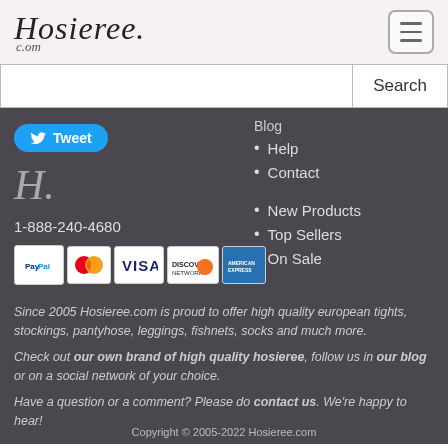Hosieree.com
Search
Help
Contact
New Products
Top Sellers
On Sale
Tweet
[Figure (logo): Hosieree.com H. script logo in gray]
1-888-240-4680
[Figure (infographic): Payment method logos: PayPal, MasterCard, VISA, Discover, American Express]
Since 2005 Hosieree.com is proud to offer high quality european tights, stockings, pantyhose, leggings, fishnets, socks and much more.
Check out our own brand of high quality hosieree, follow us in our blog or on a social network of your choice.
Have a question or a comment? Please do contact us. We’re happy to hear!
Copyright © 2005-2022 Hosieree.com